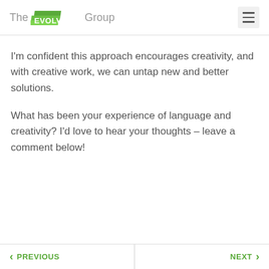[Figure (logo): The EVOLVED Group logo with green stacked squares and grey text]
I'm confident this approach encourages creativity, and with creative work, we can untap new and better solutions.
What has been your experience of language and creativity? I'd love to hear your thoughts – leave a comment below!
PREVIOUS | NEXT